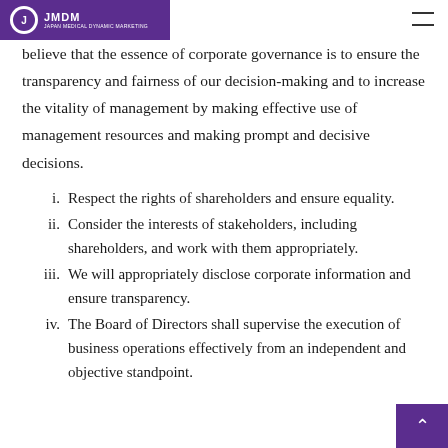JMDM — JAPAN MEDICAL DYNAMIC MARKETING
believe that the essence of corporate governance is to ensure the transparency and fairness of our decision-making and to increase the vitality of management by making effective use of management resources and making prompt and decisive decisions.
i.  Respect the rights of shareholders and ensure equality.
ii. Consider the interests of stakeholders, including shareholders, and work with them appropriately.
iii. We will appropriately disclose corporate information and ensure transparency.
iv. The Board of Directors shall supervise the execution of business operations effectively from an independent and objective standpoint.